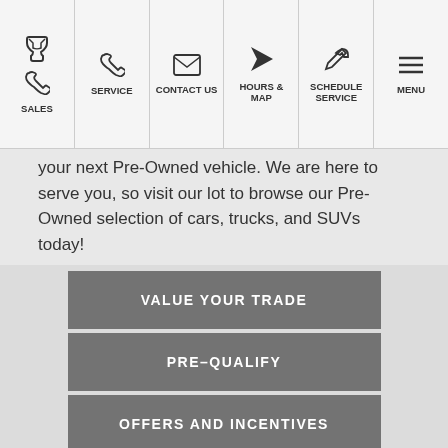SALES | SERVICE | CONTACT US | HOURS & MAP | SCHEDULE SERVICE | MENU
your next Pre-Owned vehicle. We are here to serve you, so visit our lot to browse our Pre-Owned selection of cars, trucks, and SUVs today!
VALUE YOUR TRADE
PRE-QUALIFY
OFFERS AND INCENTIVES
AVAILABLE INVENTORY
BACK TO TOP